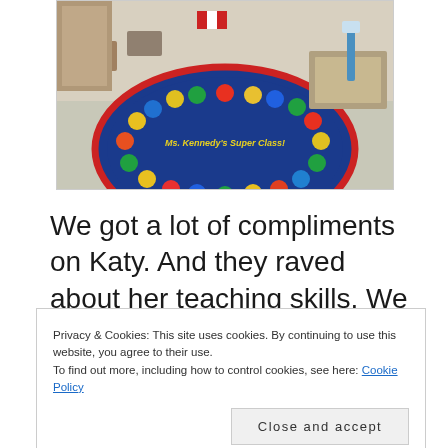[Figure (photo): A classroom photo showing a colorful oval rug with dots, student desks, chairs, and school supplies including a water bottle. The rug has text reading 'Ms. Kennedy's Super Class!']
We got a lot of compliments on Katy. And they raved about her teaching skills. We are proud of her.
I think she said there are five or six others that are pregnant there. So will be a busy year of
Privacy & Cookies: This site uses cookies. By continuing to use this website, you agree to their use.
To find out more, including how to control cookies, see here: Cookie Policy
Close and accept